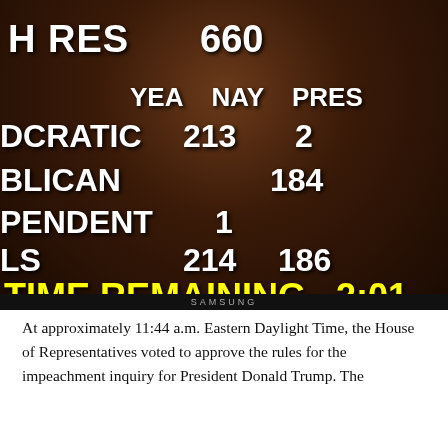[Figure (screenshot): Screenshot of U.S. House of Representatives floor vote display showing H RES 660 vote tally. YEA/NAY/PRES columns. Democratic: 213 YEA, 2 NAY. Republican: 184 NAY. Independent: 1 YEA. Totals: 214 YEA, 186 NAY. TIME REMAINING: 2:01.]
At approximately 11:44 a.m. Eastern Daylight Time, the House of Representatives voted to approve the rules for the impeachment inquiry for President Donald Trump. The